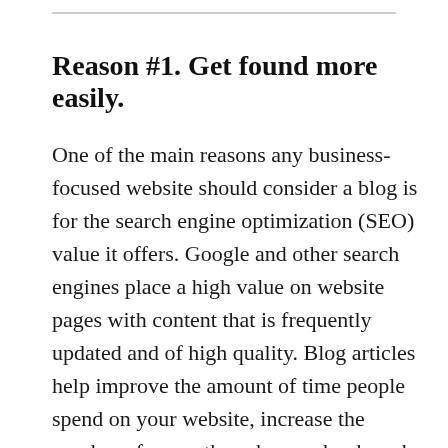Reason #1. Get found more easily.
One of the main reasons any business-focused website should consider a blog is for the search engine optimization (SEO) value it offers. Google and other search engines place a high value on website pages with content that is frequently updated and of high quality. Blog articles help improve the amount of time people spend on your website, increase the number of pages they share or bookmark, and make it easier to include the sort of keyword phrases visitors might actually use in search engines. These are all factors that